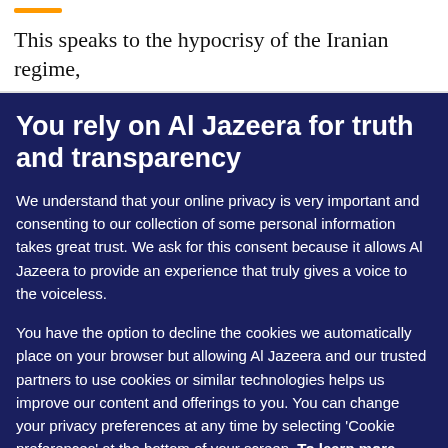This speaks to the hypocrisy of the Iranian regime,
You rely on Al Jazeera for truth and transparency
We understand that your online privacy is very important and consenting to our collection of some personal information takes great trust. We ask for this consent because it allows Al Jazeera to provide an experience that truly gives a voice to the voiceless.

You have the option to decline the cookies we automatically place on your browser but allowing Al Jazeera and our trusted partners to use cookies or similar technologies helps us improve our content and offerings to you. You can change your privacy preferences at any time by selecting 'Cookie preferences' at the bottom of your screen. To learn more, please view our Cookie Policy.